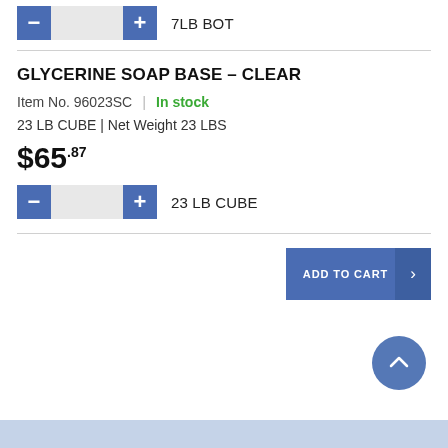[Figure (screenshot): Quantity selector with minus button, input field, plus button, and label '7LB BOT']
GLYCERINE SOAP BASE – CLEAR
Item No. 96023SC | In stock
23 LB CUBE | Net Weight 23 LBS
$65.87
[Figure (screenshot): Quantity selector with minus button, input field, plus button, and label '23 LB CUBE']
[Figure (screenshot): ADD TO CART button with arrow]
[Figure (screenshot): Scroll to top circular button with chevron up icon]